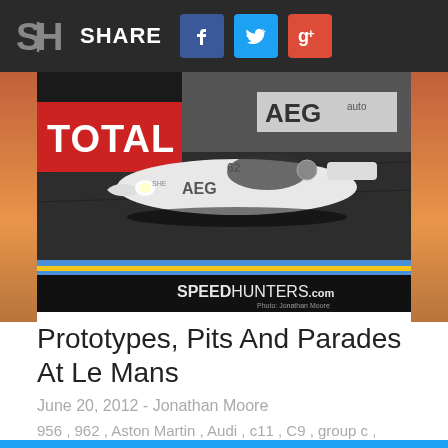SH SHARE [Facebook] [Twitter] [Google+]
[Figure (photo): Racing prototype car (white Mercedes Sauber C11 with AEG sponsorship) on Le Mans circuit track at dusk, with TOTAL advertising banner in background. Speedhunters.com watermark and 'Photo: Jonathan Moore' credit in lower right.]
Prototypes, Pits And Parades At Le Mans
June 20, 2012 - Jonathan Moore
956 , 962 , Aston Martin , Audi , c11 , C9 , group c , Jonathan Moore , Lancia , LC2 , le mans 12 , Mercedes-Benz , Nissan , Porsche , R90CK , sauber